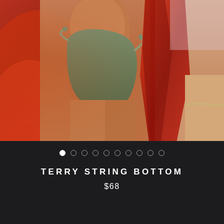[Figure (photo): Fashion product photo showing models wearing swimwear against a red/orange background. The main subject is a woman wearing an olive/sage green string bikini bottom. Another model is partially visible on the right side. Background features red and orange draped fabric.]
• ○ ○ ○ ○ ○ ○ ○ ○ ○
TERRY STRING BOTTOM
$68